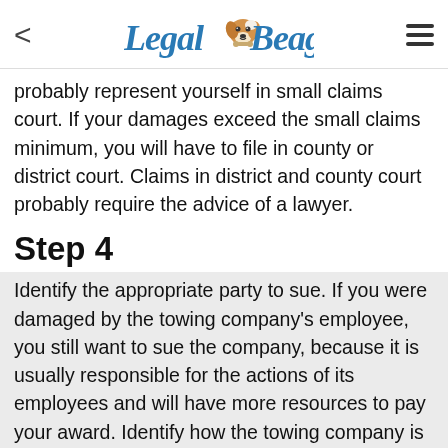Legal Beagle
probably represent yourself in small claims court. If your damages exceed the small claims minimum, you will have to file in county or district court. Claims in district and county court probably require the advice of a lawyer.
Step 4
Identify the appropriate party to sue. If you were damaged by the towing company's employee, you still want to sue the company, because it is usually responsible for the actions of its employees and will have more resources to pay your award. Identify how the towing company is organized by looking it up on your secretary of state's website. This